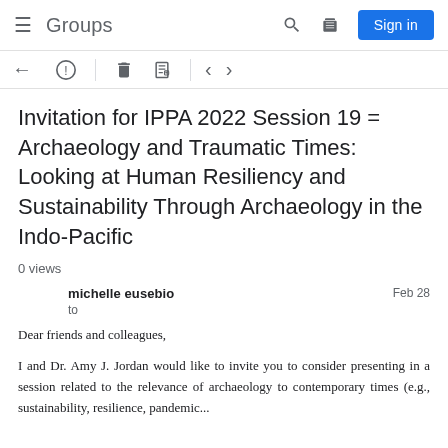Groups
Invitation for IPPA 2022 Session 19 = Archaeology and Traumatic Times: Looking at Human Resiliency and Sustainability Through Archaeology in the Indo-Pacific
0 views
michelle eusebio
to
Feb 28
Dear friends and colleagues,
I and Dr. Amy J. Jordan would like to invite you to consider presenting in a session related to the relevance of archaeology to contemporary times (e.g., sustainability, resilience, pandemic...